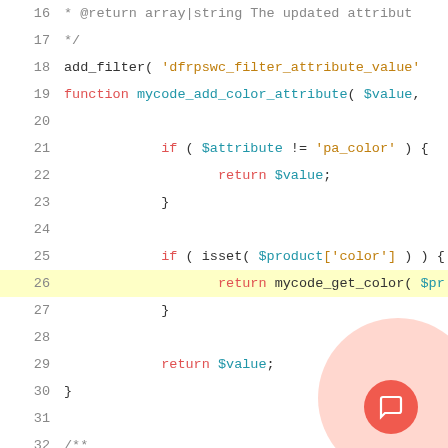[Figure (screenshot): Code editor screenshot showing PHP code lines 16-36 with syntax highlighting. Line 26 is highlighted in yellow. A circular chat button overlay is visible in the bottom-right corner.]